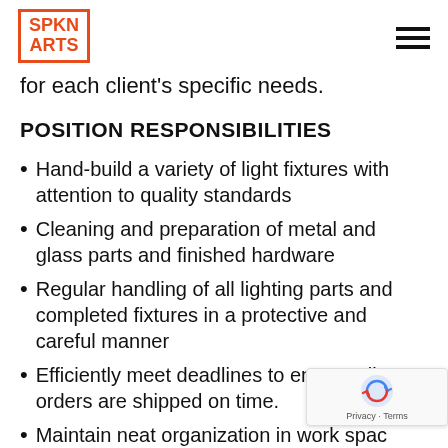SPKN ARTS
for each client's specific needs.
POSITION RESPONSIBILITIES
Hand-build a variety of light fixtures with attention to quality standards
Cleaning and preparation of metal and glass parts and finished hardware
Regular handling of all lighting parts and completed fixtures in a protective and careful manner
Efficiently meet deadlines to ensure all orders are shipped on time.
Maintain neat organization in work spac
Report to Production Manager